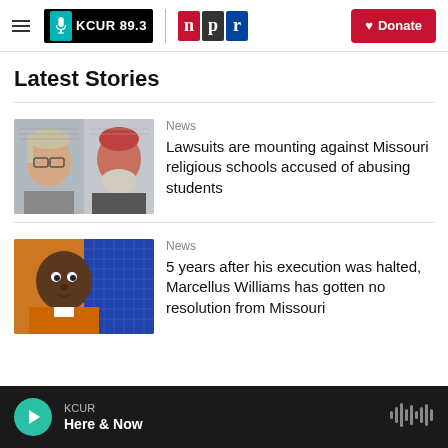KCUR 89.3 | npr | Donate
Latest Stories
[Figure (photo): Two mugshot-style photos side by side: a woman with glasses and a bald man with a gray beard]
News
Lawsuits are mounting against Missouri religious schools accused of abusing students
[Figure (photo): Photo of a Black man in an orange jumpsuit, appearing to be in a correctional facility setting with a blue geometric background]
News
5 years after his execution was halted, Marcellus Williams has gotten no resolution from Missouri
KCUR — Here & Now